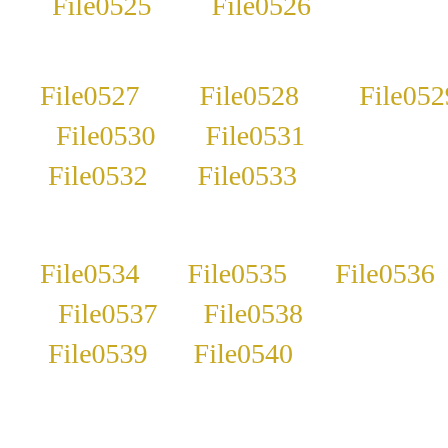File0525   File0526
File0527   File0528   File0529
File0530   File0531
File0532   File0533
File0534   File0535   File0536
File0537   File0538
File0539   File0540